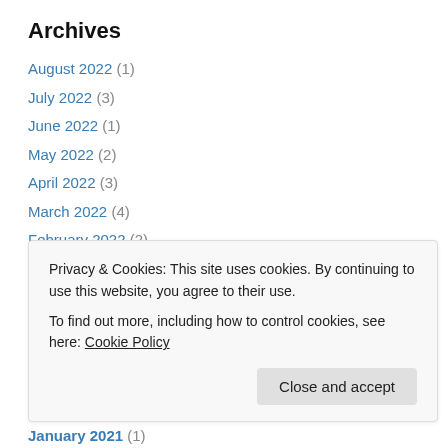Archives
August 2022 (1)
July 2022 (3)
June 2022 (1)
May 2022 (2)
April 2022 (3)
March 2022 (4)
February 2022 (2)
January 2022 (1)
December 2021 (1)
November 2021 (5)
September 2021 (1)
Privacy & Cookies: This site uses cookies. By continuing to use this website, you agree to their use.
To find out more, including how to control cookies, see here: Cookie Policy
January 2021 (1)